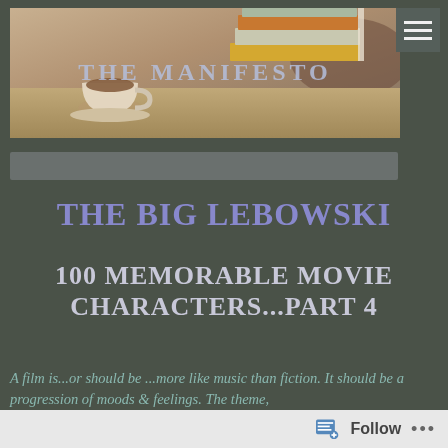[Figure (photo): Banner image showing a stack of books and a coffee cup on a table, with the blog title 'THE MANIFESTO' overlaid in light blue text]
THE BIG LEBOWSKI
100 MEMORABLE MOVIE CHARACTERS...PART 4
A film is...or should be ...more like music than fiction. It should be a progression of moods & feelings. The theme,
Follow ...